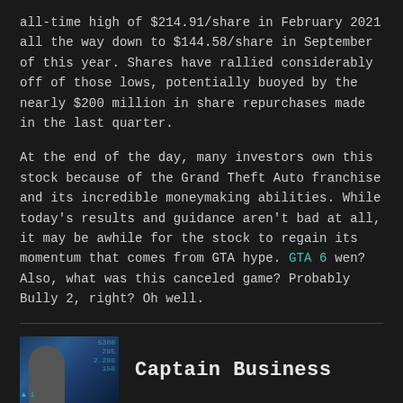all-time high of $214.91/share in February 2021 all the way down to $144.58/share in September of this year. Shares have rallied considerably off of those lows, potentially buoyed by the nearly $200 million in share repurchases made in the last quarter.
At the end of the day, many investors own this stock because of the Grand Theft Auto franchise and its incredible moneymaking abilities. While today's results and guidance aren't bad at all, it may be awhile for the stock to regain its momentum that comes from GTA hype. GTA 6 wen? Also, what was this canceled game? Probably Bully 2, right? Oh well.
[Figure (photo): Photo of a person (author avatar) in front of a stock market screen showing ticker numbers in blue/teal]
Captain Business